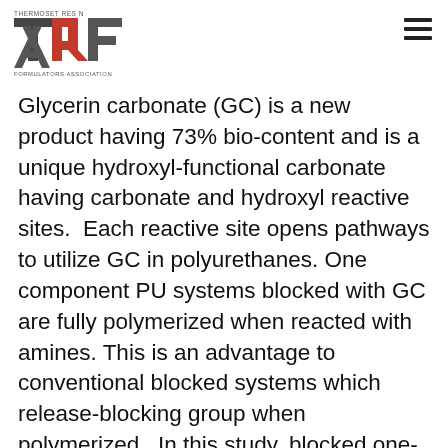THERMOSET RESIN FORMULATORS ASSOCIATION
Glycerin carbonate (GC) is a new product having 73% bio-content and is a unique hydroxyl-functional carbonate having carbonate and hydroxyl reactive sites.  Each reactive site opens pathways to utilize GC in polyurethanes. One component PU systems blocked with GC are fully polymerized when reacted with amines. This is an advantage to conventional blocked systems which release-blocking group when polymerized.  In this study, blocked one-component polyurethane systems of carbonate (GC) functional urethane adduct and amines were prepared and polymerized into films.  In addition to bio-content